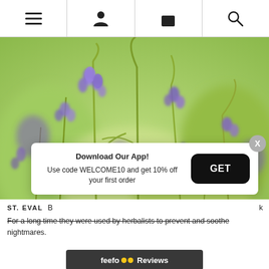[Figure (screenshot): Website navigation bar with hamburger menu, user icon, shopping bag icon, and search icon, separated by vertical lines]
[Figure (photo): Close-up photo of bluebells (purple/violet flowers) with green stems against a blurred green background]
[Figure (screenshot): App download popup overlay with X close button. Text: 'Download Our App! Use code WELCOME10 and get 10% off your first order' with a black GET button]
B... ST. EVAL k...
For a long time they were used by herbalists to prevent and soothe nightmares.
[Figure (screenshot): Feefo reviews bar at bottom with feefo logo with two yellow dots and 'Reviews' text on dark background]